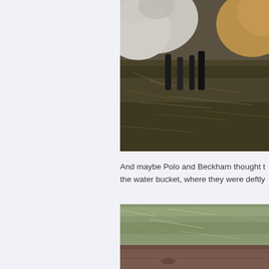[Figure (photo): Close-up photo of sheep bodies and legs standing on hay/straw bedding on the ground. White and tan woolly sheep visible from mid-body down.]
And maybe Polo and Beckham thought t the water bucket, where they were deftly
[Figure (photo): Photo showing hay or dry grass/straw on top of what appears to be a wooden surface or fence rail.]